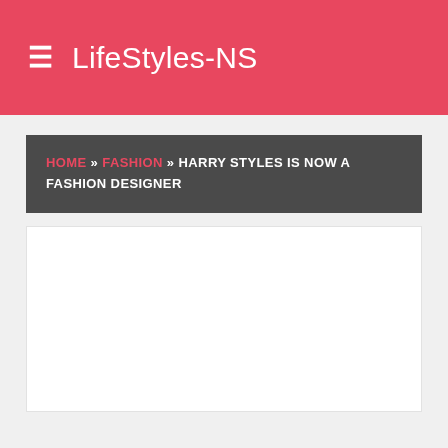LifeStyles-NS
HOME » FASHION » HARRY STYLES IS NOW A FASHION DESIGNER
[Figure (other): White empty content box / advertisement placeholder]